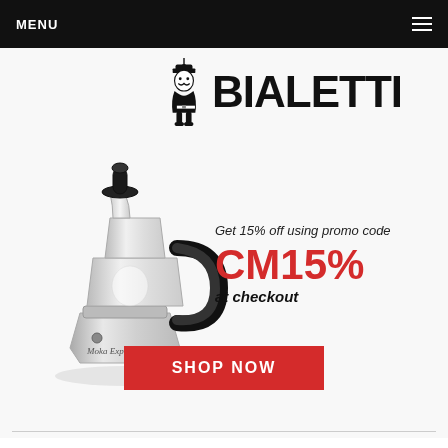MENU
[Figure (logo): Bialetti logo with mascot (mustachioed man in a hat) and bold BIALETTI text]
[Figure (photo): Bialetti Moka Express stovetop espresso maker, silver aluminum body with black handle and lid]
Get 15% off using promo code
CM15%
at checkout
SHOP NOW